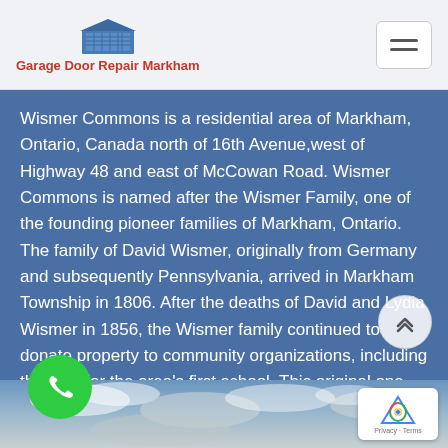Garage Door Repair Markham
Wismer Commons is a residential area of Markham, Ontario, Canada north of 16th Avenue,west of Highway 48 and east of McCowan Road. Wismer Commons is named after the Wismer Family, one of the founding pioneer families of Markham, Ontario. The family of David Wismer, originally from Germany and subsequently Pennsylvania, arrived in Markham Township in 1806. After the deaths of David and Lydia Wismer in 1856, the Wismer family continued to donate property to community organizations, including the land for the area's first school. This original one-room schoolhouse, near the south west corner of 1
[Figure (photo): Cloudy sky photo background at bottom of page]